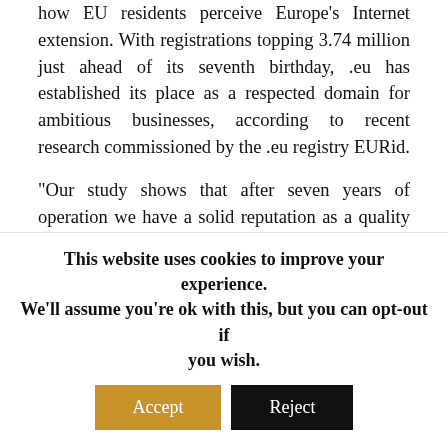how EU residents perceive Europe's Internet extension. With registrations topping 3.74 million just ahead of its seventh birthday, .eu has established its place as a respected domain for ambitious businesses, according to recent research commissioned by the .eu registry EURid.
“Our study shows that after seven years of operation we have a solid reputation as a quality top-level domain, suitable for large companies, but also for innovative and creative startups,” said EURid’s General Manager Marc Van Wesemael.
Today, over 1.84 million EU residents have registered at least one .eu domain name, with 25% of those having registered more than one. The research also shows that the majority of .eu users are in business...
This website uses cookies to improve your experience. We’ll assume you’re ok with this, but you can opt-out if you wish. Accept Reject